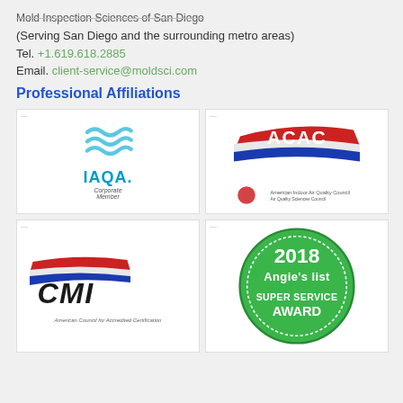Mold Inspection Sciences of San Diego
(Serving San Diego and the surrounding metro areas)
Tel. +1.619.618.2885
Email. client-service@moldsci.com
Professional Affiliations
[Figure (logo): IAQA Corporate Member logo with blue wave marks]
[Figure (logo): ACAC logo with red and blue wave ribbons]
[Figure (logo): CMI American Council for Accredited Certification logo]
[Figure (logo): 2018 Angie's List Super Service Award badge]